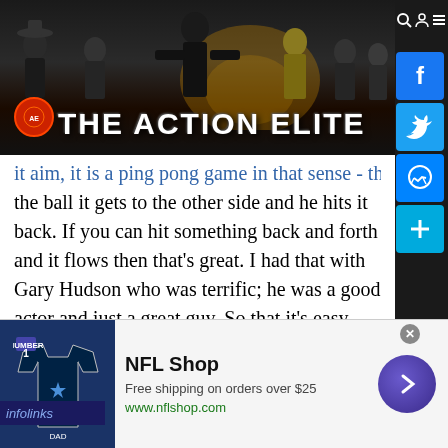[Figure (screenshot): The Action Elite website header banner with film noir style silhouettes of action movie characters and 'THE ACTION ELITE' text logo in white. Dark background with movie characters.]
the ball it gets to the other side and he hits it back. If you can hit something back and forth and it flows then that's great. I had that with Gary Hudson who was terrific; he was a good actor and just a great guy. So that it's easy enough to believe that he could be my brother, which was nice. Again, you want that relationship to be solid enough that people can empathise and your journey. When we're at odds with each
[Figure (screenshot): NFL Shop advertisement banner showing a Cowboys jersey (#1 DAD), NFL Shop text, 'Free shipping on orders over $25', www.nflshop.com, and a blue arrow button]